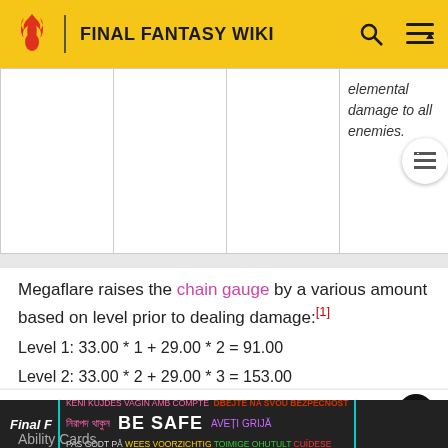FINAL FANTASY WIKI
|  |  |  | Description |
| --- | --- | --- | --- |
|  |  |  | elemental damage to all enemies. |
Megaflare raises the chain gauge by a various amount based on level prior to dealing damage:[1]
Level 1: 33.00 * 1 + 29.00 * 2 = 91.00
Level 2: 33.00 * 2 + 29.00 * 3 = 153.00
Level 3: 33.00 * 3 + 29.00 * 4 = 215.00
Other appearances
Final F...
Ability Cards